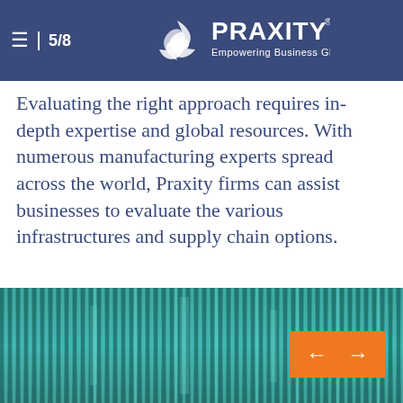≡  5/8  PRAXITY® Empowering Business Globally
Evaluating the right approach requires in-depth expertise and global resources. With numerous manufacturing experts spread across the world, Praxity firms can assist businesses to evaluate the various infrastructures and supply chain options.
[Figure (photo): Teal/green corrugated metal surface with vertical ridges, textured industrial background]
[Figure (other): Orange navigation button with left and right arrow icons]